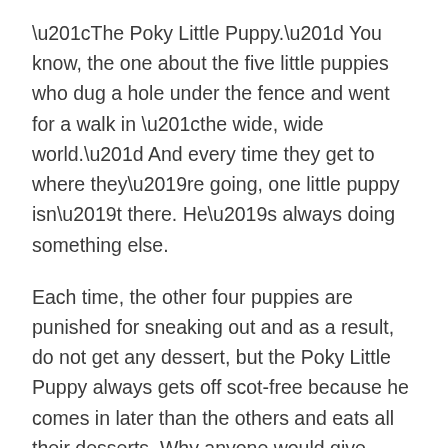“The Poky Little Puppy.” You know, the one about the five little puppies who dug a hole under the fence and went for a walk in “the wide, wide world.” And every time they get to where they’re going, one little puppy isn’t there. He’s always doing something else.
Each time, the other four puppies are punished for sneaking out and as a result, do not get any dessert, but the Poky Little Puppy always gets off scot-free because he comes in later than the others and eats all their desserts. Why anyone would give puppies rice pudding or chocolate custard is beyond me, but then again, the book was written in 1942.
Finally, fate catches up with the Poky Little Puppy, as fate always does. In the end, his siblings get strawberry shortcake, and he goes to bed hungry and dejected. When he wakes up, there is a new sign: “NO DESSERTS EVER UNLESS PUPPIES